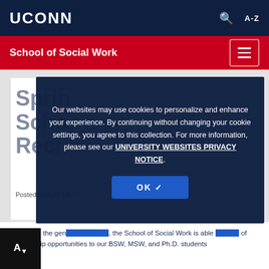UCONN
School of Social Work
Spring 2024 Scholarship Recipients
Posted on April 14, 20...
Our websites may use cookies to personalize and enhance your experience. By continuing without changing your cookie settings, you agree to this collection. For more information, please see our UNIVERSITY WEBSITES PRIVACY NOTICE.
Thanks to the generous donors, the School of Social Work is able to offer scholarship opportunities to our BSW, MSW, and Ph.D. students